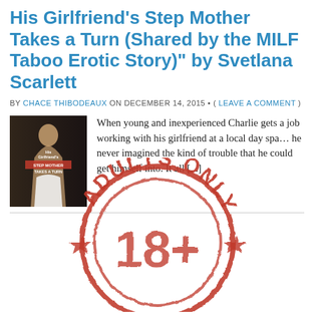His Girlfriend's Step Mother Takes a Turn (Shared by the MILF Taboo Erotic Story)" by Svetlana Scarlett
BY CHACE THIBODEAUX ON DECEMBER 14, 2015 • ( LEAVE A COMMENT )
[Figure (illustration): Book cover image showing 'His Girlfriend's Step Mother Takes a Turn' with a woman figure]
When young and inexperienced Charlie gets a job working with his girlfriend at a local day spa... he never imagined the kind of trouble that he could get himself into. It all [...]
[Figure (other): Large red distressed rubber stamp reading 'ADULTS ONLY' in circular format]